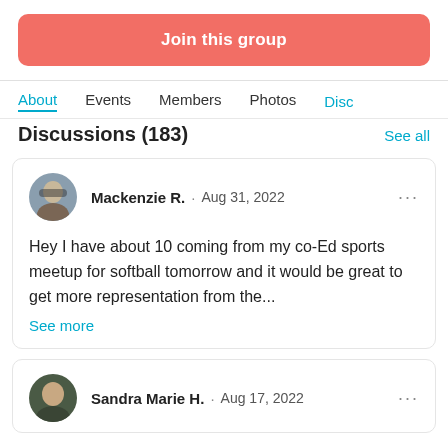Join this group
About
Events
Members
Photos
Disc
Discussions (183)
See all
Mackenzie R. · Aug 31, 2022
Hey I have about 10 coming from my co-Ed sports meetup for softball tomorrow and it would be great to get more representation from the...
See more
Sandra Marie H. · Aug 17, 2022